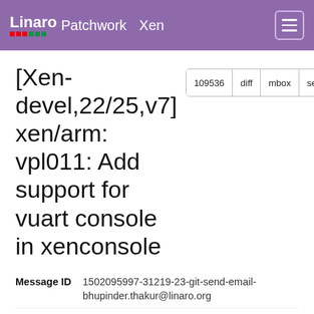Linaro Patchwork Xen
[Xen-devel,22/25,v7] xen/arm: vpl011: Add support for vuart console in xenconsole
| Field | Value |
| --- | --- |
| Message ID | 1502095997-31219-23-git-send-email-bhupinder.thakur@linaro.org |
| State | Superseded |
| Headers | show |
| Series | SBSA UART emulation support in Xen | expand |